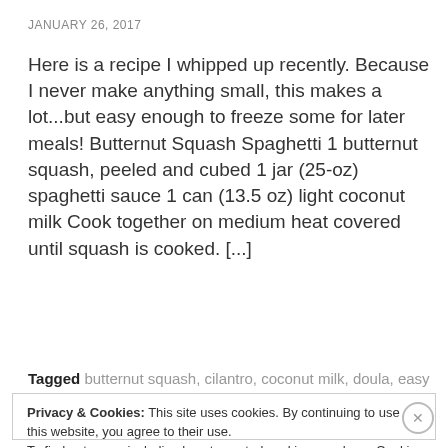JANUARY 26, 2017
Here is a recipe I whipped up recently. Because I never make anything small, this makes a lot...but easy enough to freeze some for later meals! Butternut Squash Spaghetti 1 butternut squash, peeled and cubed 1 jar (25-oz) spaghetti sauce 1 can (13.5 oz) light coconut milk Cook together on medium heat covered until squash is cooked. [...]
Tagged butternut squash, cilantro, coconut milk, doula, easy
Privacy & Cookies: This site uses cookies. By continuing to use this website, you agree to their use.
To find out more, including how to control cookies, see here: Cookie Policy
Close and accept